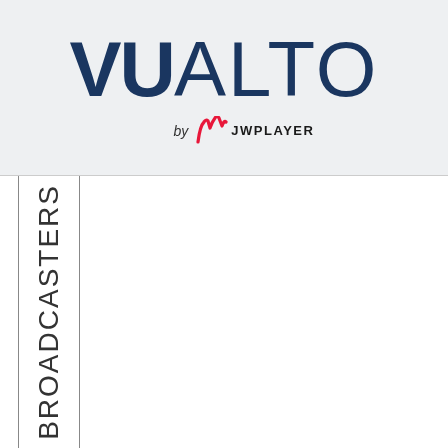[Figure (logo): VUALTO by JW Player logo on light gray background. VUALTO in large text with VU in bold dark navy and ALTO in light weight dark navy. Below is 'by' in italic followed by a red handwritten-style W icon and JWPLAYER in dark bold uppercase letters.]
BROADCASTERS